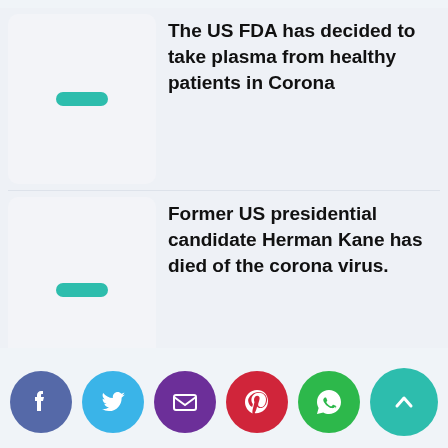[Figure (illustration): Gray placeholder thumbnail with teal dash for first news item]
The US FDA has decided to take plasma from healthy patients in Corona
[Figure (illustration): Gray placeholder thumbnail with teal dash for second news item]
Former US presidential candidate Herman Kane has died of the corona virus.
[Figure (infographic): Social sharing buttons: Facebook, Twitter, Email, Pinterest, WhatsApp, scroll-up arrow]